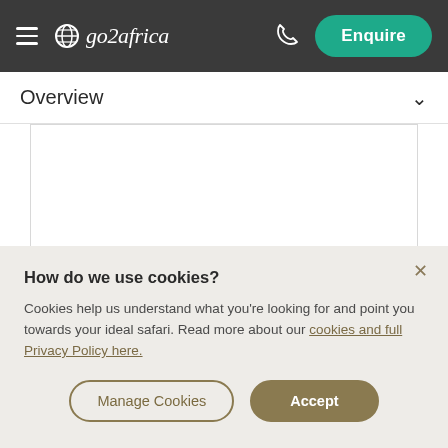go2africa — Enquire
Overview
How do we use cookies?
Cookies help us understand what you're looking for and point you towards your ideal safari. Read more about our cookies and full Privacy Policy here.
Manage Cookies   Accept